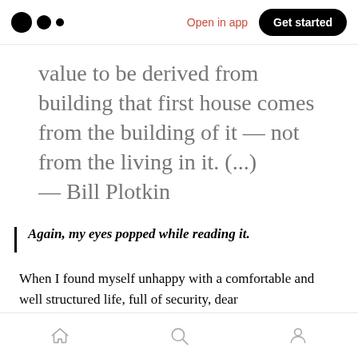Medium app header with logo, 'Open in app' link, and 'Get started' button
value to be derived from building that first house comes from the building of it — not from the living in it. (...) — Bill Plotkin
Again, my eyes popped while reading it.
When I found myself unhappy with a comfortable and well structured life, full of security, dear people and options, I felt deeply frustrated
Bottom navigation bar with home, search, and profile icons